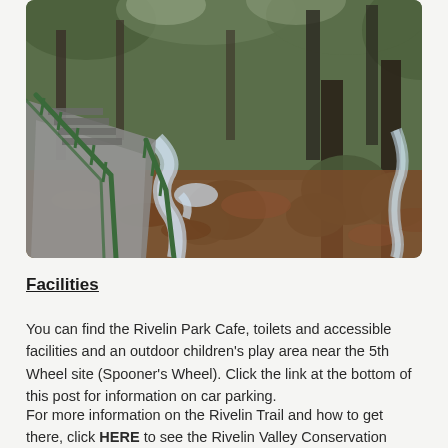[Figure (photo): A woodland path with green metal railings/handrails leading downward, alongside a rocky stream with cascading water. Autumn leaves cover the ground and rocks. Moss-covered boulders and bare trees are visible in the background.]
Facilities
You can find the Rivelin Park Cafe, toilets and accessible facilities and an outdoor children's play area near the 5th Wheel site (Spooner's Wheel). Click the link at the bottom of this post for information on car parking.
For more information on the Rivelin Trail and how to get there, click HERE to see the Rivelin Valley Conservation Group's